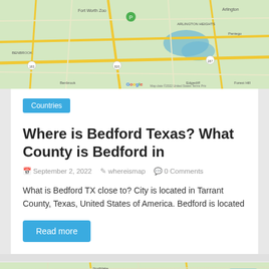[Figure (map): Google Map screenshot showing Fort Worth Zoo area, Arlington, Kennedale, Benbrook, Edgecliff, Forest Hill areas in Texas with road network]
Countries
Where is Bedford Texas? What County is Bedford in
September 2, 2022   whereismap   0 Comments
What is Bedford TX close to? City is located in Tarrant County, Texas, United States of America. Bedford is located
Read more
[Figure (map): Google Map screenshot showing Dallas-Fort Worth metro area including Garland, Richardson, Rowlett, Rockwall, Sachse, Wylie, Royse City, Carrollton, Farmers Branch, Southlake, Keller areas]